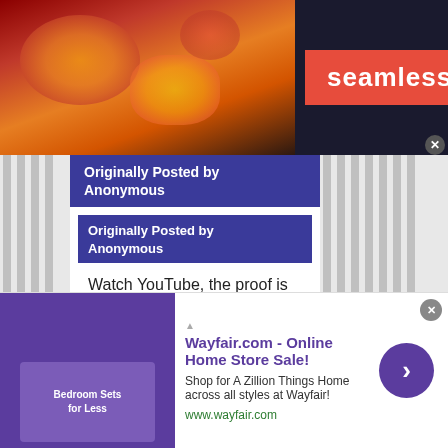[Figure (screenshot): Seamless food delivery advertisement banner with pizza image on left, red Seamless logo in center, and ORDER NOW button in dark box on right]
Originally Posted by Anonymous
Originally Posted by Anonymous
Watch YouTube, the proof is right there for you. if you think Club Lacrosse is on par with any NCAA D-1 through D-3 you know very little about the sport. The play is slow and unpolished. It looks like a lower-tier
[Figure (screenshot): Wayfair.com Online Home Store Sale advertisement with purple bedroom furniture image, ad title, description text, website URL, and purple arrow circle button]